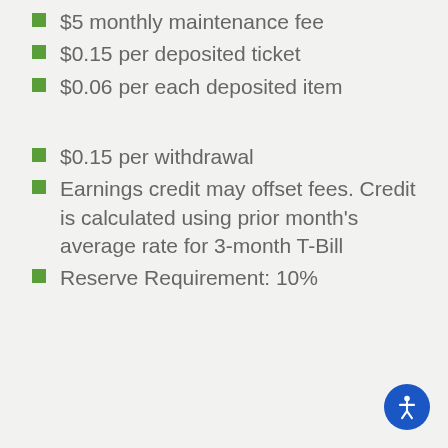$5 monthly maintenance fee
$0.15 per deposited ticket
$0.06 per each deposited item
$0.15 per withdrawal
Earnings credit may offset fees. Credit is calculated using prior month's average rate for 3-month T-Bill
Reserve Requirement: 10%